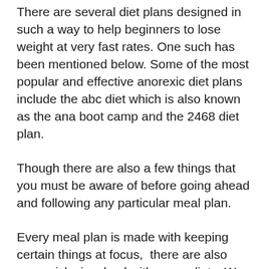There are several diet plans designed in such a way to help beginners to lose weight at very fast rates. One such has been mentioned below. Some of the most popular and effective anorexic diet plans include the abc diet which is also known as the ana boot camp and the 2468 diet plan.
Though there are also a few things that you must be aware of before going ahead and following any particular meal plan.
Every meal plan is made with keeping certain things at focus,  there are also some risks involved with some diets. We recommend everyone to do an in depth research about any anorexic diet plan before following it and also ask your health experts too.